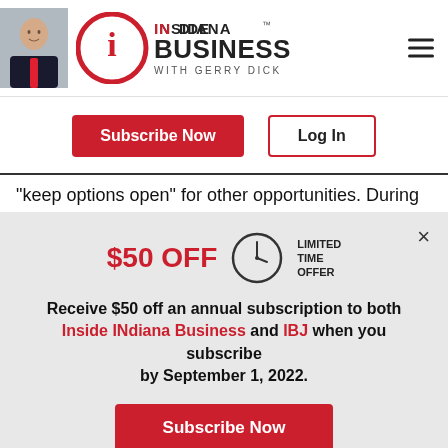[Figure (logo): Inside INdiana Business with Gerry Dick logo with host photo and hamburger menu]
[Figure (screenshot): Subscribe Now (red button) and Log In (outlined button) navigation buttons]
"keep options open" for other opportunities. During
$50 OFF LIMITED TIME OFFER
Receive $50 off an annual subscription to both Inside INdiana Business and IBJ when you subscribe by September 1, 2022.
[Figure (screenshot): Subscribe Now red button in promo overlay]
Already a paid subscriber?
[Figure (screenshot): Log In outlined button in promo overlay]